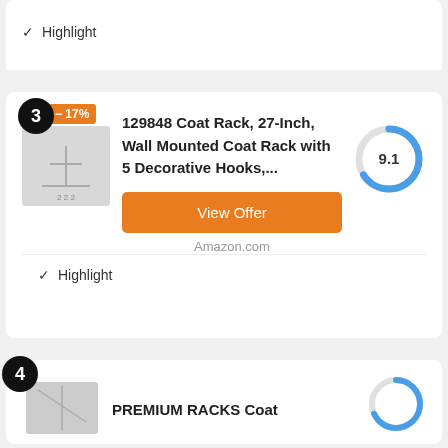✓ Highlight
[Figure (other): Product listing card #3: 129848 Coat Rack, 27-Inch, Wall Mounted Coat Rack with 5 Decorative Hooks, score 9.1, -17% discount badge, View Offer button on Amazon.com]
✓ Highlight
[Figure (donut-chart): Score donut chart showing 9.1 out of 10, blue arc covering ~92% of circle]
129848 Coat Rack, 27-Inch, Wall Mounted Coat Rack with 5 Decorative Hooks,...
View Offer
Amazon.com
PREMIUM RACKS Coat